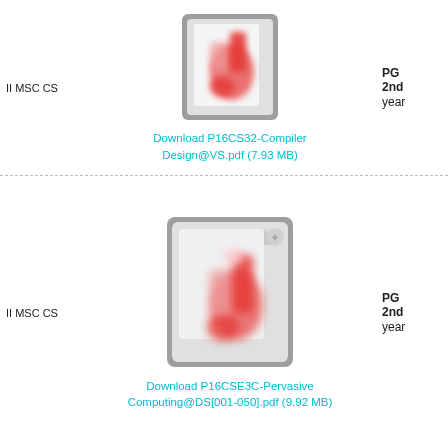II MSC CS
[Figure (illustration): PDF file icon with red Acrobat logo, blurred/thumbnail style, gray border]
PG 2nd year
Download P16CS32-Compiler Design@VS.pdf (7.93 MB)
II MSC CS
[Figure (illustration): PDF file icon with red Acrobat logo, blurred/thumbnail style, gray border]
PG 2nd year
Download P16CSE3C-Pervasive Computing@DS[001-050].pdf (9.92 MB)